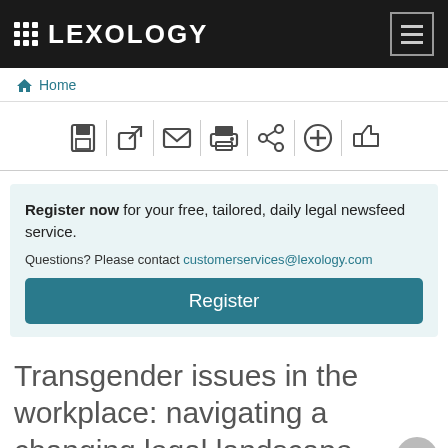LEXOLOGY
Home
[Figure (screenshot): Toolbar with seven action icons: save, external link, email, print, share, add, and like/thumbs-up, separated by vertical dividers]
Register now for your free, tailored, daily legal newsfeed service. Questions? Please contact customerservices@lexology.com
Register
Transgender issues in the workplace: navigating a changing legal landscape